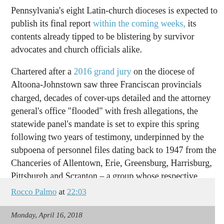Pennsylvania's eight Latin-church dioceses is expected to publish its final report within the coming weeks, its contents already tipped to be blistering by survivor advocates and church officials alike.
Chartered after a 2016 grand jury on the diocese of Altoona-Johnstown saw three Franciscan provincials charged, decades of cover-ups detailed and the attorney general's office "flooded" with fresh allegations, the statewide panel's mandate is set to expire this spring following two years of testimony, underpinned by the subpoena of personnel files dating back to 1947 from the Chanceries of Allentown, Erie, Greensburg, Harrisburg, Pittsburgh and Scranton – a group whose respective handling of cases has conspicuously varied through the years.
-30-
Rocco Palmo at 22:03
Monday, April 16, 2018